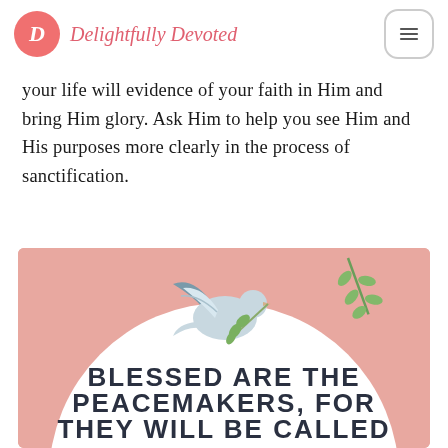Delightfully Devoted
your life will evidence of your faith in Him and bring Him glory. Ask Him to help you see Him and His purposes more clearly in the process of sanctification.
[Figure (illustration): A pink-background decorative card with a white dove carrying an olive branch, a green leafy branch in the top right, and bold text reading 'BLESSED ARE THE PEACEMAKERS, FOR THEY WILL BE CALLED' on a white circle background.]